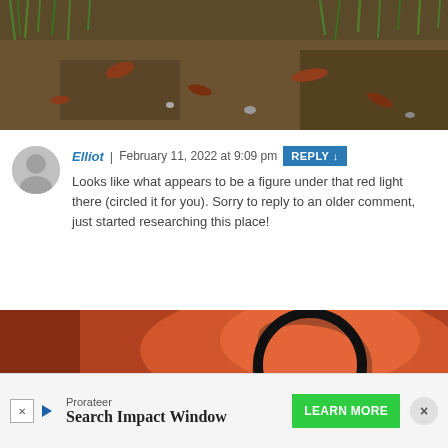[Figure (photo): Top portion of a photo showing ground with grass, dirt, and dead leaves in an outdoor setting.]
Elliot | February 11, 2022 at 9:09 pm  REPLY ↓
Looks like what appears to be a figure under that red light there (circled it for you). Sorry to reply to an older comment, just started researching this place!
[Figure (photo): Photo with reddish-orange hue showing an outdoor scene at night or dusk with a large black circle drawn on the image to highlight something.]
Prorateer
Search Impact Window  LEARN MORE